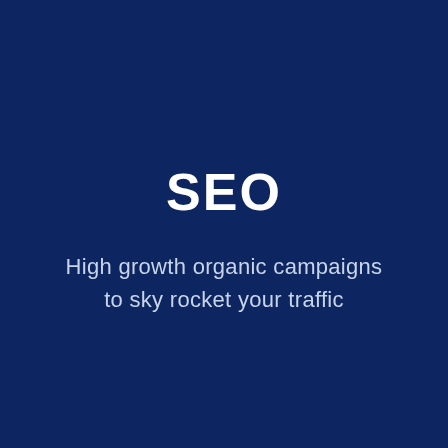SEO
High growth organic campaigns to sky rocket your traffic